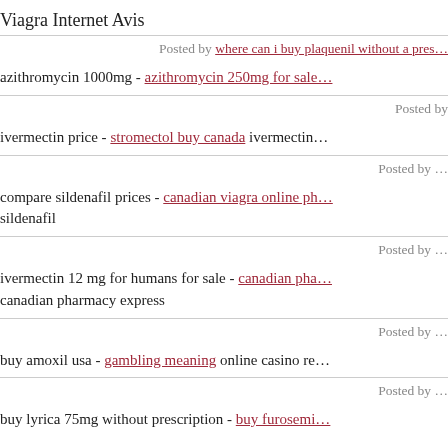Viagra Internet Avis
Posted by where can i buy plaquenil without a presc…
azithromycin 1000mg - azithromycin 250mg for sale…
Posted by …
ivermectin price - stromectol buy canada ivermectin…
Posted by …
compare sildenafil prices - canadian viagra online ph… sildenafil
Posted by …
ivermectin 12 mg for humans for sale - canadian pha… canadian pharmacy express
Posted by …
buy amoxil usa - gambling meaning online casino re…
Posted by …
buy lyrica 75mg without prescription - buy furosemi…